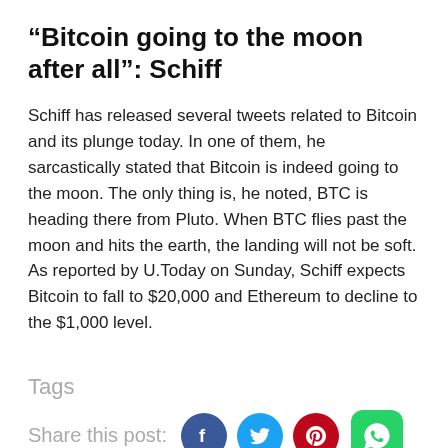“Bitcoin going to the moon after all”: Schiff
Schiff has released several tweets related to Bitcoin and its plunge today. In one of them, he sarcastically stated that Bitcoin is indeed going to the moon. The only thing is, he noted, BTC is heading there from Pluto. When BTC flies past the moon and hits the earth, the landing will not be soft. As reported by U.Today on Sunday, Schiff expects Bitcoin to fall to $20,000 and Ethereum to decline to the $1,000 level.
Tags
Share this post: